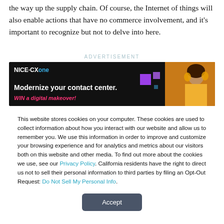the way up the supply chain. Of course, the Internet of things will also enable actions that have no commerce involvement, and it's important to recognize but not to delve into here.
ADVERTISEMENT
[Figure (other): NICE CXone advertisement banner with headline 'Modernize your contact center.' and subtext 'WIN a digital makeover!' on dark background with person wearing yellow headphones]
This website stores cookies on your computer. These cookies are used to collect information about how you interact with our website and allow us to remember you. We use this information in order to improve and customize your browsing experience and for analytics and metrics about our visitors both on this website and other media. To find out more about the cookies we use, see our Privacy Policy. California residents have the right to direct us not to sell their personal information to third parties by filing an Opt-Out Request: Do Not Sell My Personal Info.
Accept